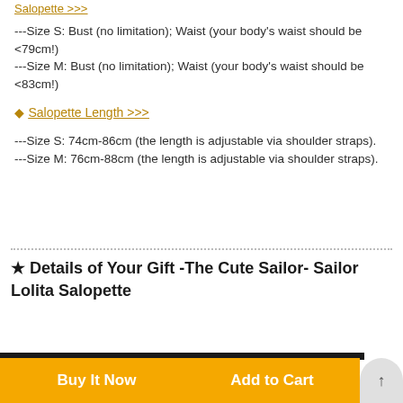Salopette >>>
---Size S: Bust (no limitation); Waist (your body's waist should be <79cm!)
---Size M: Bust (no limitation); Waist (your body's waist should be <83cm!)
◆ Salopette Length >>>
---Size S: 74cm-86cm (the length is adjustable via shoulder straps).
---Size M: 76cm-88cm (the length is adjustable via shoulder straps).
★ Details of Your Gift -The Cute Sailor- Sailor Lolita Salopette
Buy It Now    Add to Cart